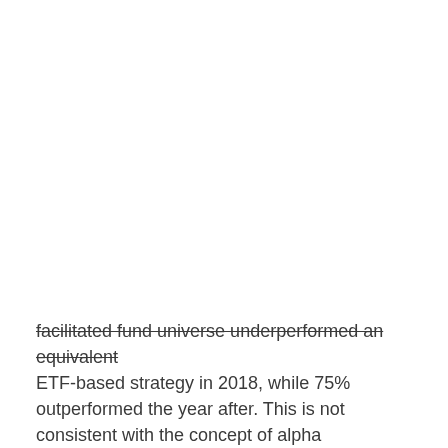facilitated fund universe underperformed an equivalent ETF-based strategy in 2018, while 75% outperformed the year after. This is not consistent with the concept of alpha